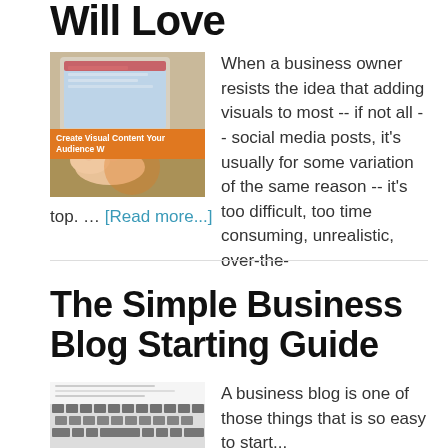Will Love
[Figure (photo): Person's hands typing on a tablet device on a desk, with an orange banner overlay reading 'Create Visual Content Your Audience W']
When a business owner resists the idea that adding visuals to most -- if not all -- social media posts, it's usually for some variation of the same reason -- it's too difficult, too time consuming, unrealistic, over-the-top. … [Read more...]
The Simple Business Blog Starting Guide
[Figure (photo): Keyboard and papers on a desk, partial view at bottom of page]
A business blog is one of those things that is so easy to start...